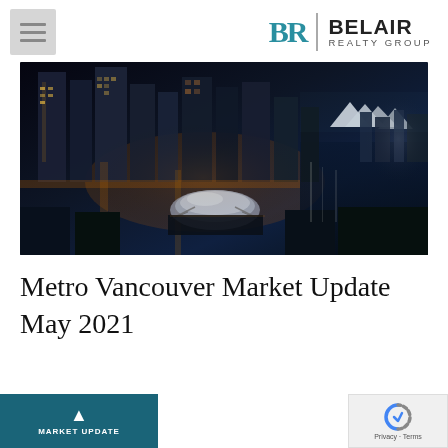BEL AIR REALTY GROUP
[Figure (photo): Aerial night view of Metro Vancouver downtown skyline with illuminated skyscrapers, BC Place dome stadium visible in center, waterfront and harbor in background]
Metro Vancouver Market Update
May 2021
Market Update